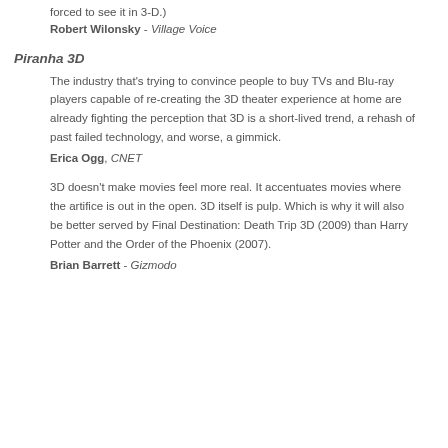forced to see it in 3-D.) Robert Wilonsky - Village Voice
Piranha 3D
The industry that's trying to convince people to buy TVs and Blu-ray players capable of re-creating the 3D theater experience at home are already fighting the perception that 3D is a short-lived trend, a rehash of past failed technology, and worse, a gimmick. Erica Ogg, CNET
3D doesn't make movies feel more real. It accentuates movies where the artifice is out in the open. 3D itself is pulp. Which is why it will also be better served by Final Destination: Death Trip 3D (2009) than Harry Potter and the Order of the Phoenix (2007). Brian Barrett - Gizmodo